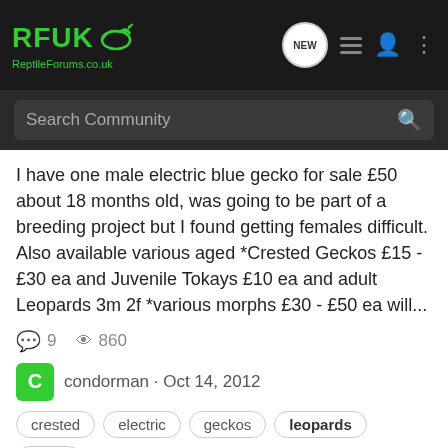[Figure (screenshot): RFUK Reptile Forums UK navigation bar with logo, search bar, and icons]
I have one male electric blue gecko for sale £50 about 18 months old, was going to be part of a breeding project but I found getting females difficult. Also available various aged *Crested Geckos £15 - £30 ea and Juvenile Tokays £10 ea and adult Leopards 3m 2f *various morphs £30 - £50 ea will...
9  860
condorman · Oct 14, 2012
crested
electric
geckos
leopards
tokay
2012 Leopard Boas - UK Bred
Snake Classifieds
One pair of 2012 UK Bred Leopard Boas available: Female: